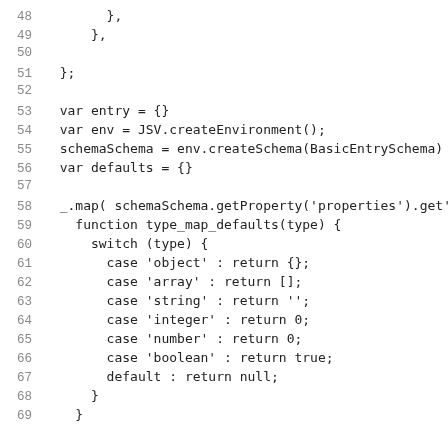Code listing lines 48-69 showing JavaScript code with line numbers. Lines: 48: '        },', 49: '      },', 50: (blank), 51: '  };', 52: (blank), 53: '  var entry = {}', 54: '  var env = JSV.createEnvironment();', 55: '  schemaSchema = env.createSchema(BasicEntrySchema)', 56: '  var defaults = {}', 57: (blank), 58: '  _.map( schemaSchema.getProperty("properties").get', 59: '    function type_map_defaults(type) {', 60: '      switch (type) {', 61: '        case "object" : return {};', 62: '        case "array" : return [];', 63: '        case "string" : return "";', 64: '        case "integer" : return 0;', 65: '        case "number" : return 0;', 66: '        case "boolean" : return true;', 67: '        default : return null;', 68: '      }', 69: '    }'